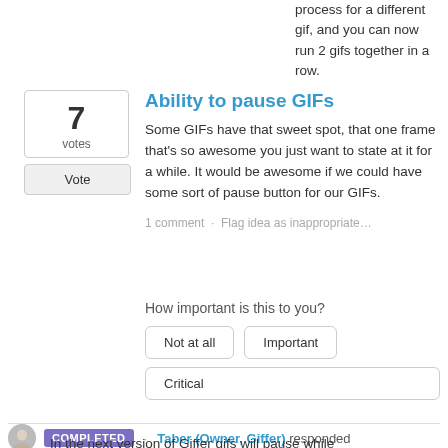process for a different gif, and you can now run 2 gifs together in a row.
Ability to pause GIFs
Some GIFs have that sweet spot, that one frame that's so awesome you just want to state at it for a while. It would be awesome if we could have some sort of pause button for our GIFs.
1 comment · Flag idea as inappropriate…
How important is this to you?
Not at all
Important
Critical
COMPLETED · Taber (Owner, Giffer) responded
In the next version of Giffer gifs will pause while